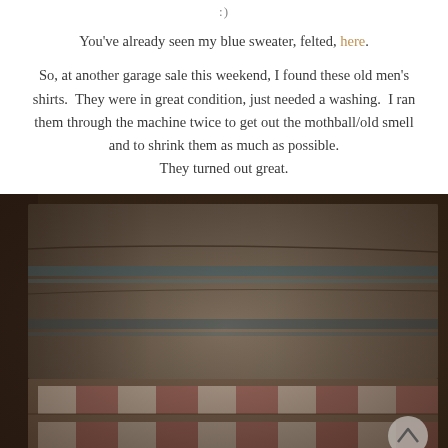:)
You've already seen my blue sweater, felted, here.
So, at another garage sale this weekend, I found these old men's shirts.  They were in great condition, just needed a washing.  I ran them through the machine twice to get out the mothball/old smell and to shrink them as much as possible.
They turned out great.
[Figure (photo): Close-up photo of folded plaid/wool shirts in dark vintage tones — grey with blue stripes on top and multi-colored plaid (pink, cream, teal squares) on bottom, with warm sepia/instagram filter applied.]